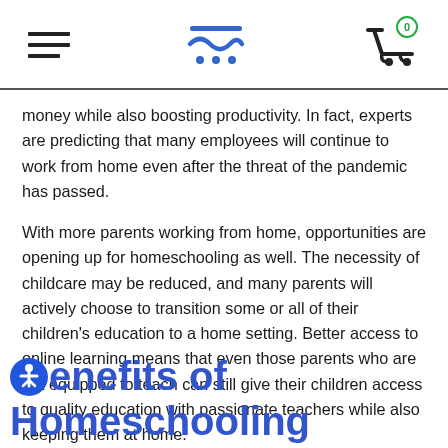[navigation bar with hamburger menu, logo, and cart icon with badge 0]
money while also boosting productivity. In fact, experts are predicting that many employees will continue to work from home even after the threat of the pandemic has passed.
With more parents working from home, opportunities are opening up for homeschooling as well. The necessity of childcare may be reduced, and many parents will actively choose to transition some or all of their children's education to a home setting. Better access to online learning means that even those parents who are not equipped to teach can still give their children access to quality education with passionate teachers while also keeping them at home.
Benefits of Homeschooling